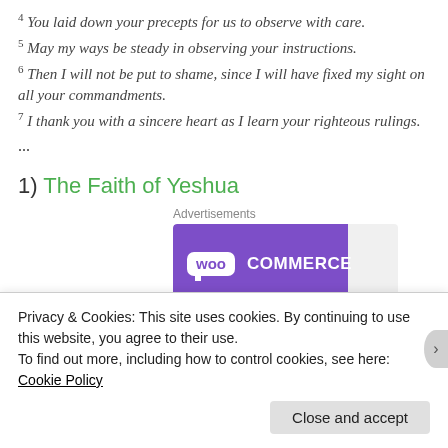4 You laid down your precepts for us to observe with care.
5 May my ways be steady in observing your instructions.
6 Then I will not be put to shame, since I will have fixed my sight on all your commandments.
7 I thank you with a sincere heart as I learn your righteous rulings.
...
1) The Faith of Yeshua
Advertisements
[Figure (logo): WooCommerce logo on purple background]
Privacy & Cookies: This site uses cookies. By continuing to use this website, you agree to their use.
To find out more, including how to control cookies, see here: Cookie Policy
Close and accept